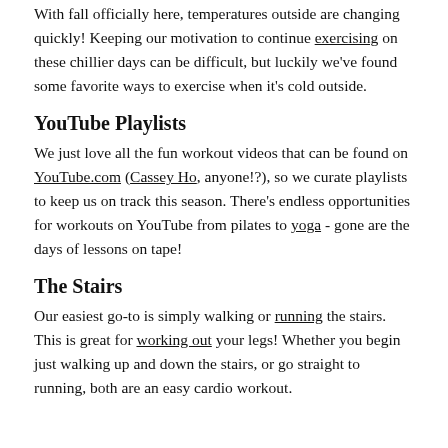With fall officially here, temperatures outside are changing quickly! Keeping our motivation to continue exercising on these chillier days can be difficult, but luckily we've found some favorite ways to exercise when it's cold outside.
YouTube Playlists
We just love all the fun workout videos that can be found on YouTube.com (Cassey Ho, anyone!?), so we curate playlists to keep us on track this season. There's endless opportunities for workouts on YouTube from pilates to yoga - gone are the days of lessons on tape!
The Stairs
Our easiest go-to is simply walking or running the stairs. This is great for working out your legs! Whether you begin just walking up and down the stairs, or go straight to running, both are an easy cardio workout.